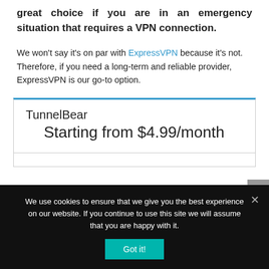great choice if you are in an emergency situation that requires a VPN connection.
We won't say it's on par with ExpressVPN because it's not. Therefore, if you need a long-term and reliable provider, ExpressVPN is our go-to option.
| TunnelBear | Starting from $4.99/month |
We use cookies to ensure that we give you the best experience on our website. If you continue to use this site we will assume that you are happy with it.